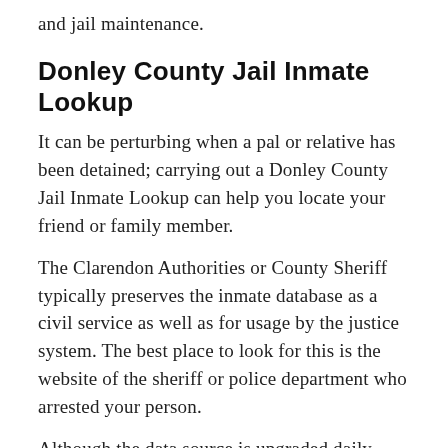and jail maintenance.
Donley County Jail Inmate Lookup
It can be perturbing when a pal or relative has been detained; carrying out a Donley County Jail Inmate Lookup can help you locate your friend or family member.
The Clarendon Authorities or County Sheriff typically preserves the inmate database as a civil service as well as for usage by the justice system. The best place to look for this is the website of the sheriff or police department who arrested your person.
Although the data source is upgraded daily.